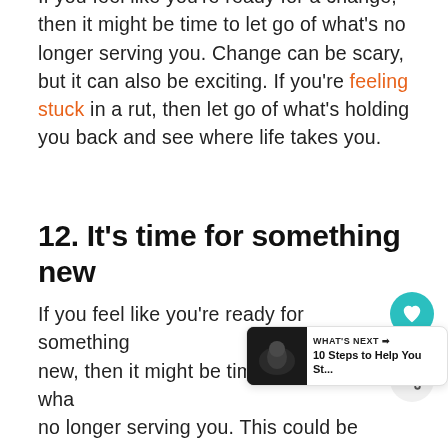If you feel like you're ready for a change, then it might be time to let go of what's no longer serving you. Change can be scary, but it can also be exciting. If you're feeling stuck in a rut, then let go of what's holding you back and see where life takes you.
12. It's time for something new
If you feel like you're ready for something new, then it might be time to let go of what's no longer serving you. This could be an opportunity to pursue a new interest, or let go of something that's been holding you back.